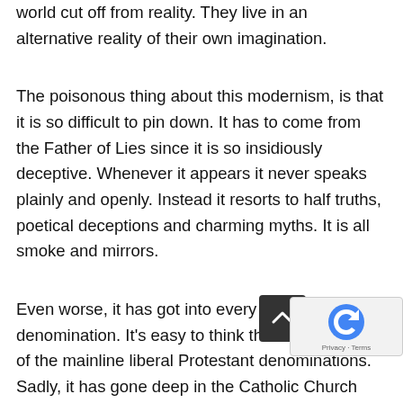world cut off from reality. They live in an alternative reality of their own imagination.
The poisonous thing about this modernism, is that it is so difficult to pin down. It has to come from the Father of Lies since it is so insidiously deceptive. Whenever it appears it never speaks plainly and openly. Instead it resorts to half truths, poetical deceptions and charming myths. It is all smoke and mirrors.
Even worse, it has got into every Christian denomination. It's easy to think this is the disease of the mainline liberal Protestant denominations. Sadly, it has gone deep in the Catholic Church and it affects everything we do. It affects the way we worship, the way we preach, the way we relate to the world, the way we do everything. It is deeply hidden, and is the root cause of all our problems